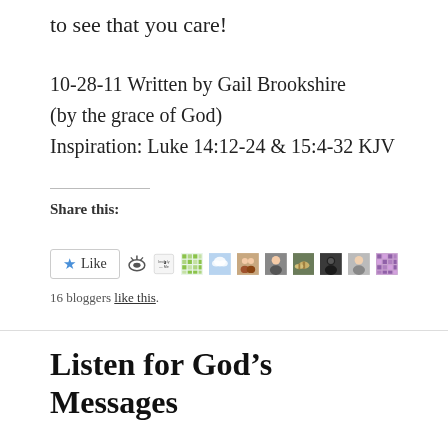to see that you care!
10-28-11 Written by Gail Brookshire (by the grace of God)
Inspiration: Luke 14:12-24 & 15:4-32 KJV
Share this:
[Figure (screenshot): Like button with star icon and a row of blogger avatar thumbnails. Below: '16 bloggers like this.']
Listen for God's Messages